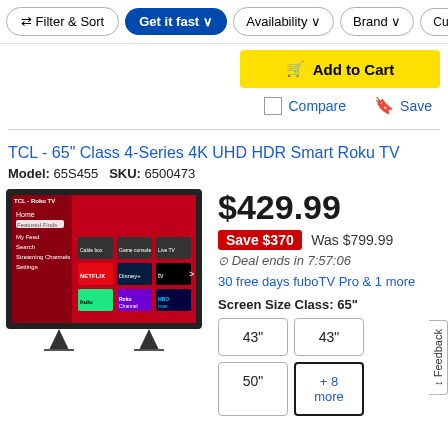Filter & Sort | Get it fast | Availability | Brand | Current
Add to Cart
Compare | Save
TCL - 65" Class 4-Series 4K UHD HDR Smart Roku TV
Model: 65S455   SKU: 6500473
[Figure (photo): TCL Roku TV product image showing the TV screen with app icons including Netflix, Disney+, Apple TV, Hulu, Roku Channel, HBO Max on a red background]
$429.99
Save $370  Was $799.99
Deal ends in 7:57:06
30 free days fuboTV Pro & 1 more
Screen Size Class: 65"
43" | 43" | 50" | + 8 more